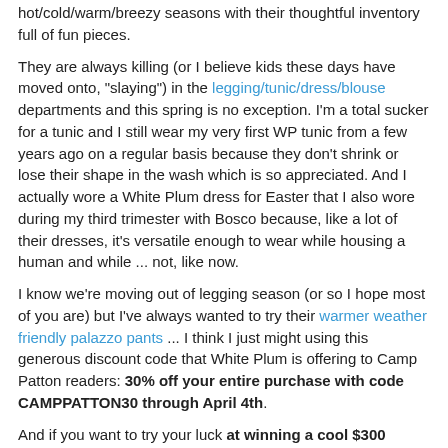hot/cold/warm/breezy seasons with their thoughtful inventory full of fun pieces.
They are always killing (or I believe kids these days have moved onto, "slaying") in the legging/tunic/dress/blouse departments and this spring is no exception. I'm a total sucker for a tunic and I still wear my very first WP tunic from a few years ago on a regular basis because they don't shrink or lose their shape in the wash which is so appreciated. And I actually wore a White Plum dress for Easter that I also wore during my third trimester with Bosco because, like a lot of their dresses, it's versatile enough to wear while housing a human and while ... not, like now.
I know we're moving out of legging season (or so I hope most of you are) but I've always wanted to try their warmer weather friendly palazzo pants ... I think I just might using this generous discount code that White Plum is offering to Camp Patton readers: 30% off your entire purchase with code CAMPPATTON30 through April 4th.
And if you want to try your luck at winning a cool $300